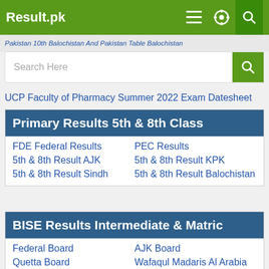Result.pk
Pakistan 10th Balochistan And Pakistan Table Balochistan
Search Here
UCP Faculty of Pharmacy Summer 2022 Exam Datesheet
Primary Results 5th & 8th Class
FDE Federal Results
PEC Results
5th & 8th Result AJK
5th & 8th Result KPK
5th & 8th Result Sindh
5th & 8th Result Balochistan
BISE Results Intermediate & Matric
Federal Board
AJK Board
Quetta Board
Wafaqul Madaris Al Arabia
Close x
483  259  381  450  674
Share  WhatsApp  Tweet  Share  Pin
12  Recommend  Subscribe YouTube
Admissions | News | Scholarships | Schools | Colleges | Merit Calculator | Ranking